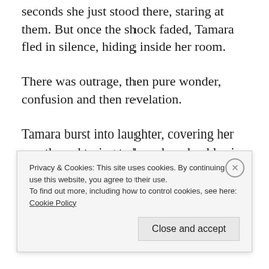seconds she just stood there, staring at them. But once the shock faded, Tamara fled in silence, hiding inside her room.
There was outrage, then pure wonder, confusion and then revelation.
Tamara burst into laughter, covering her mouth, and trying to keep her chuckles in check for fear she might be heard.
(partially obscured/faded text)
Privacy & Cookies: This site uses cookies. By continuing to use this website, you agree to their use.
To find out more, including how to control cookies, see here:
Cookie Policy